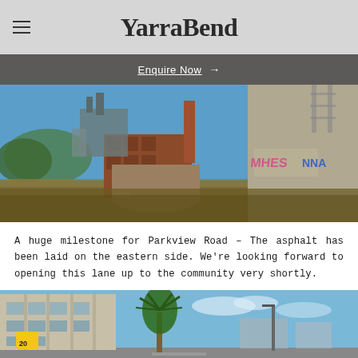YarraBend
Enquire Now →
[Figure (photo): Industrial site with old brick buildings, a chimney stack, graffiti-covered concrete silo/tower, and overgrown grass in the foreground under a blue sky.]
A huge milestone for Parkview Road – The asphalt has been laid on the eastern side. We're looking forward to opening this lane up to the community very shortly.
[Figure (photo): Street view showing modern apartment buildings on the left, a tall palm tree in the center, a speed limit sign (20), and a blue sky with light clouds.]